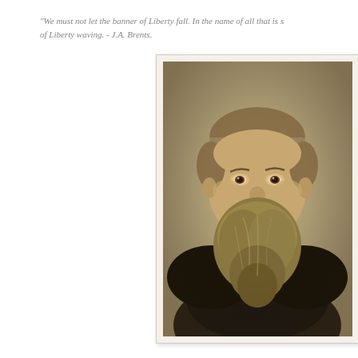"We must not let the banner of Liberty fall. In the name of all that is s[acred, keep the banner] of Liberty waving. - J.A. Brents.
[Figure (photo): Sepia-toned portrait photograph of a man with a large beard and short hair, wearing a dark suit with a bow tie, in a formal Victorian-era studio style.]